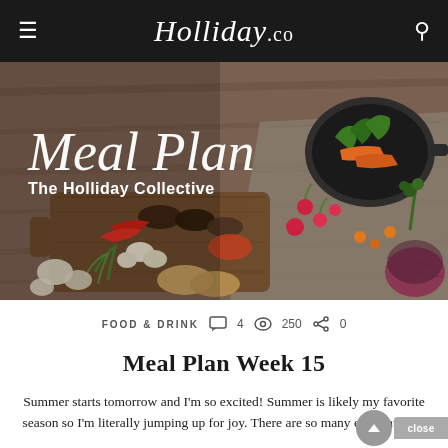Holliday.co
[Figure (photo): Hero food photography image showing a wooden cutting board with spices, peppers, garlic, herbs, bread; a black pan with roasted vegetables; radishes, carrots, onion scattered on a grey linen cloth. Overlaid with script text 'Meal Plan' and subtitle 'The Holliday Collective'.]
FOOD & DRINK   4   250   0
Meal Plan Week 15
Summer starts tomorrow and I'm so excited! Summer is likely my favorite season so I'm literally jumping up for joy. There are so many elements that